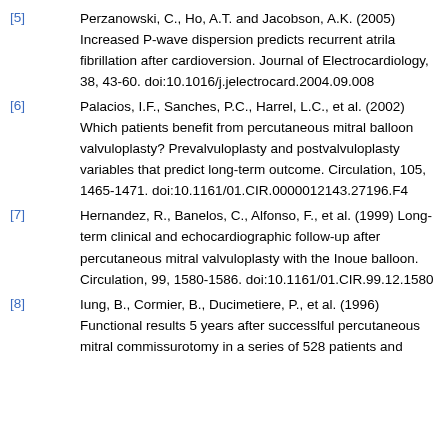[5] Perzanowski, C., Ho, A.T. and Jacobson, A.K. (2005) Increased P-wave dispersion predicts recurrent atrila fibrillation after cardioversion. Journal of Electrocardiology, 38, 43-60. doi:10.1016/j.jelectrocard.2004.09.008
[6] Palacios, I.F., Sanches, P.C., Harrel, L.C., et al. (2002) Which patients benefit from percutaneous mitral balloon valvuloplasty? Prevalvuloplasty and postvalvuloplasty variables that predict long-term outcome. Circulation, 105, 1465-1471. doi:10.1161/01.CIR.0000012143.27196.F4
[7] Hernandez, R., Banelos, C., Alfonso, F., et al. (1999) Long-term clinical and echocardiographic follow-up after percutaneous mitral valvuloplasty with the Inoue balloon. Circulation, 99, 1580-1586. doi:10.1161/01.CIR.99.12.1580
[8] Iung, B., Cormier, B., Ducimetiere, P., et al. (1996) Functional results 5 years after successlful percutaneous mitral commissurotomy in a series of 528 patients and